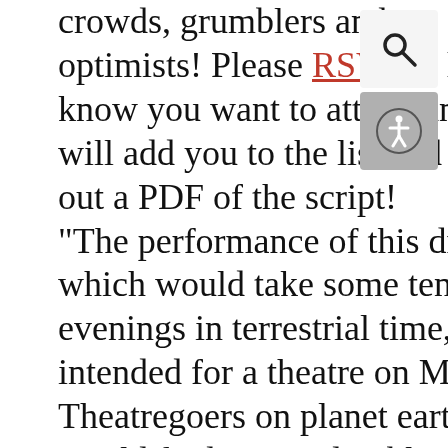crowds, grumblers and optimists! Please RSVP to let us know you want to attend and we will add you to the list and send out a PDF of the script! "The performance of this drama, which would take some ten evenings in terrestrial time, is intended for a theatre on Mars. Theatregoers on planet earth would find it unendurable. For it is blood of their blood and its content derives from the contents of those unreal unthinkable years, out of sight and out of mind, inaccessible to memory and preserved only in bloodstained